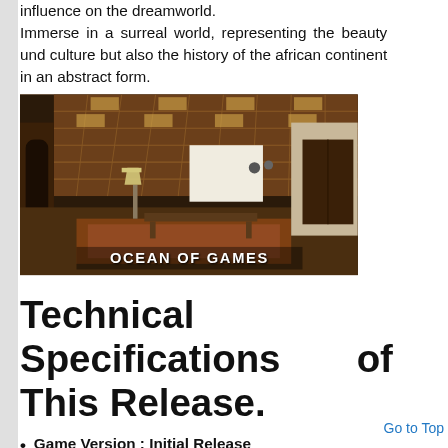influence on the dreamworld. Immerse in a surreal world, representing the beauty und culture but also the history of the african continent in an abstract form.
[Figure (screenshot): In-game screenshot of a 3D room interior with wooden ceiling grid pattern, warm lighting, and furniture. Watermark 'OCEAN OF GAMES' at bottom.]
Technical Specifications of This Release.
Game Version : Initial Release
Interface Language: English
Audio Language : English
Uploader / Re packer Group: Plaza